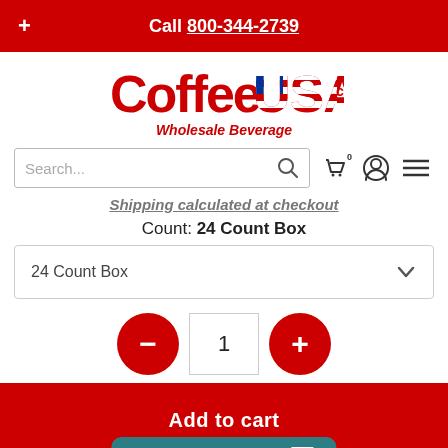Call 800-344-2739
[Figure (logo): CoffeeUSA.com Wholesale Beverage logo with red Coffee text and USA flag-styled lettering]
Search...
Shipping calculated at checkout
Count: 24 Count Box
24 Count Box
1
Leave us a message.
[Figure (illustration): Facebook and Pinterest social media icons]